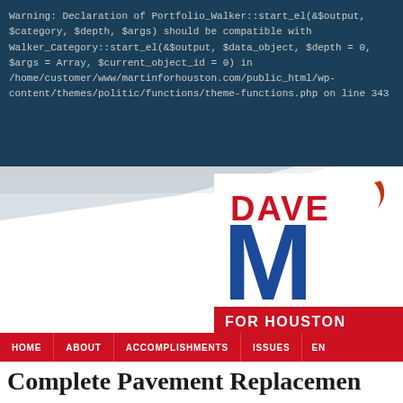Warning: Declaration of Portfolio_Walker::start_el(&$output, $category, $depth, $args) should be compatible with Walker_Category::start_el(&$output, $data_object, $depth = 0, $args = Array, $current_object_id = 0) in /home/customer/www/martinforhouston.com/public_html/wp-content/themes/politic/functions/theme-functions.php on line 343
[Figure (logo): Dave Martin for Houston campaign logo with red DAVE text, large blue M, and red FOR HOUSTON banner]
HOME | ABOUT | ACCOMPLISHMENTS | ISSUES | EN...
Complete Pavement Replacement